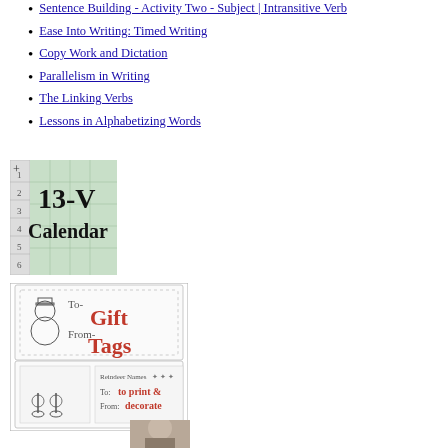Sentence Building - Activity Two - Subject | Intransitive Verb
Ease Into Writing: Timed Writing
Copy Work and Dictation
Parallelism in Writing
The Linking Verbs
Lessons in Alphabetizing Words
[Figure (illustration): Thumbnail image showing a grid/spreadsheet icon with '13-V' text and 'Calendar' label below]
[Figure (illustration): Thumbnail image of gift tags with snowman, reindeer, text 'To- Gift From- Tags' and 'to print & decorate']
[Figure (photo): Partial portrait photo at bottom of page]